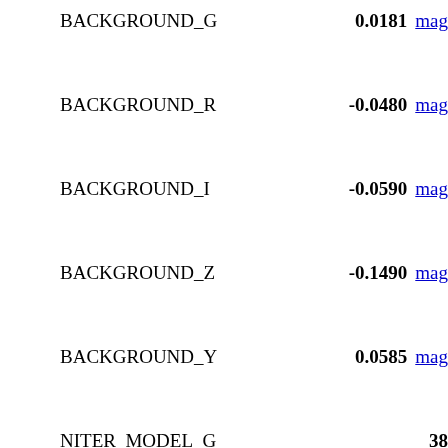BACKGROUND_G   0.0181 mag
BACKGROUND_R   -0.0480 mag
BACKGROUND_I   -0.0590 mag
BACKGROUND_Z   -0.1490 mag
BACKGROUND_Y   0.0585 mag
NITER_MODEL_G   38